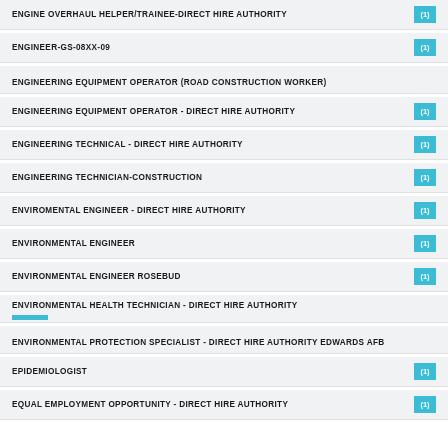ENGINE OVERHAUL HELPER/TRAINEE-DIRECT HIRE AUTHORITY (1)
ENGINEER-GS-08XX-09 (1)
ENGINEERING EQUIPMENT OPERATOR (ROAD CONSTRUCTION WORKER)
ENGINEERING EQUIPMENT OPERATOR - DIRECT HIRE AUTHORITY (1)
ENGINEERING TECHNICAL - DIRECT HIRE AUTHORITY (1)
ENGINEERING TECHNICIAN-CONSTRUCTION (1)
ENVIROMENTAL ENGINEER - DIRECT HIRE AUTHORITY (1)
ENVIRONMENTAL ENGINEER (1)
ENVIRONMENTAL ENGINEER ROSEBUD (1)
ENVIRONMENTAL HEALTH TECHNICIAN - DIRECT HIRE AUTHORITY
ENVIRONMENTAL PROTECTION SPECIALIST - DIRECT HIRE AUTHORITY EDWARDS AFB
EPIDEMIOLOGIST (1)
EQUAL EMPLOYMENT OPPORTUNITY - DIRECT HIRE AUTHORITY (1)